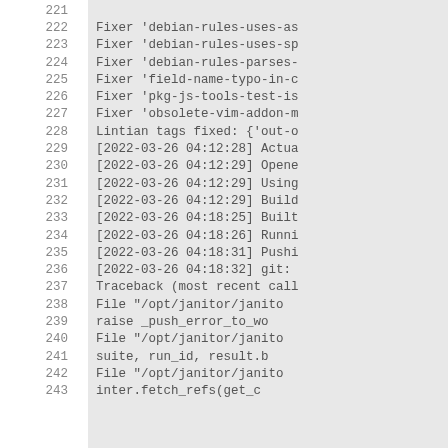Lines 221-243 of a code/log file showing Fixer entries, Lintian tags, timestamped log entries, and a Python traceback with raise _push_error_to_wo, file references to /opt/janitor/janito, suite/run_id/result, and inter.fetch_refs(get_c